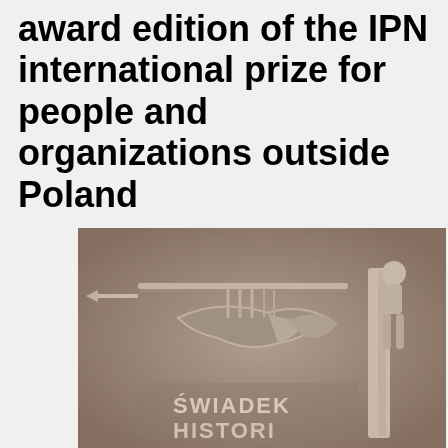award edition of the IPN international prize for people and organizations outside Poland
[Figure (photo): Close-up photograph of a metal medal or plaque featuring an engraved relief design with a figure and the text 'ŚWIADEK HISTORII' (Witness of History) at the bottom. The medal appears to be silver/bronze colored with a textured background.]